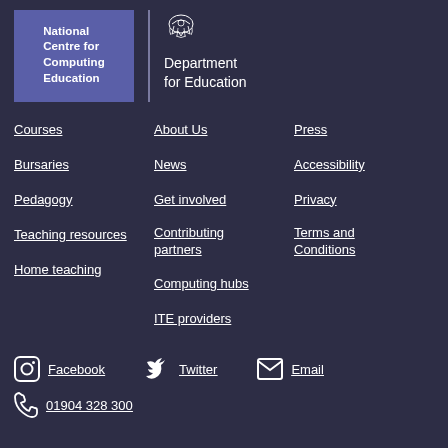[Figure (logo): National Centre for Computing Education logo - blue rectangle with white bold text]
[Figure (logo): Department for Education logo with royal crest and text]
Courses
Bursaries
Pedagogy
Teaching resources
Home teaching
About Us
News
Get involved
Contributing partners
Computing hubs
ITE providers
Press
Accessibility
Privacy
Terms and Conditions
Facebook
Twitter
Email
01904 328 300